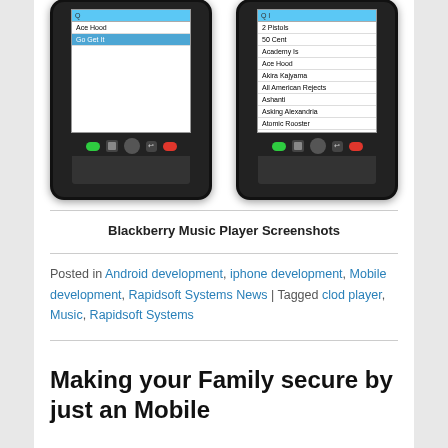[Figure (screenshot): Two BlackBerry smartphones side by side showing music player app screens. Left phone shows 'Ace Hood' and selected 'Go Get It'. Right phone shows a list: 2 Pistols, 50 Cent, Academy Is, Ace Hood, Akira Kajyama, All American Rejects, Ashanti, Asking Alexandria, Atomic Rooster, Auburn, Beanie Sigel.]
Blackberry Music Player Screenshots
Posted in Android development, iphone development, Mobile development, Rapidsoft Systems News | Tagged clod player, Music, Rapidsoft Systems
Making your Family secure by just an Mobile